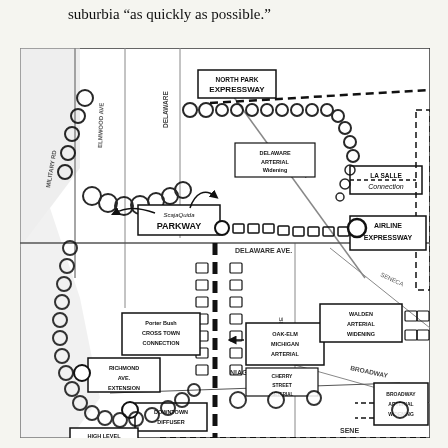suburbia “as quickly as possible.”
[Figure (map): Black and white planning map of Buffalo, NY showing proposed highway and arterial road network including North Park Expressway, Scajaquada Parkway, Airline Expressway, La Salle Connection, Delaware Arterial Widening, Oak-Elm Michigan Arterial, Porter Bush Cross Town Connection, Richmond Ave Extension, Downtown Diffuser, Cherry Street Arterial, Walden Arterial Widening, Broadway Arterial Widening, High Level Bridge, and Niagara Thruway. Map shows circles representing proposed routes, dashed lines, and labeled road connections.]